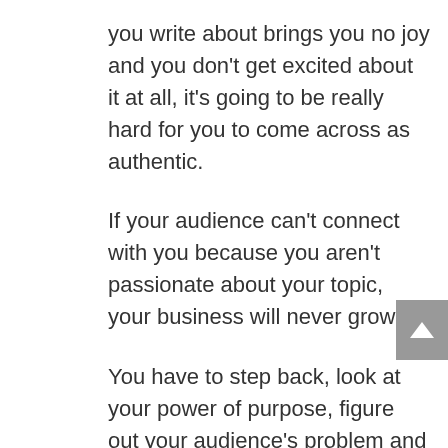you write about brings you no joy and you don't get excited about it at all, it's going to be really hard for you to come across as authentic.
If your audience can't connect with you because you aren't passionate about your topic, your business will never grow.
You have to step back, look at your power of purpose, figure out your audience's problem and how you're solving it, and then move forward with the tasks that will get you there. This is how you will hit your long-term goals.
For some of you, this will mean deleting some